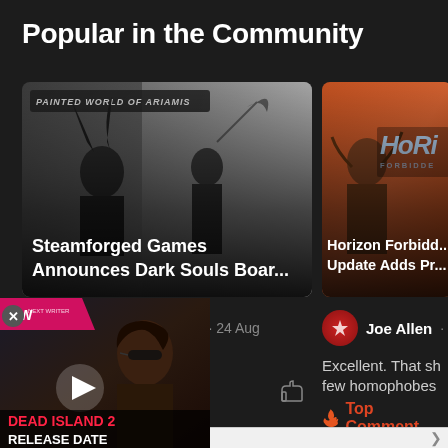Popular in the Community
[Figure (screenshot): Dark Souls board game card showing 'Painted World of Ariamis' text at top with dark silhouette figures, titled 'Steamforged Games Announces Dark Souls Boar...']
[Figure (screenshot): Horizon Forbidden West game card with orange/warm tone and HFW logo, titled 'Horizon Forbidd... Update Adds Pr...']
Tyler Chancey · 24 Aug
n these The...
Joe Allen ·
Excellent. That sh few homophobes
🔥 Top Comment
[Figure (screenshot): MW (Next Writer) video overlay showing Dead Island 2 Release Date video with play button, person in sunglasses visible in background]